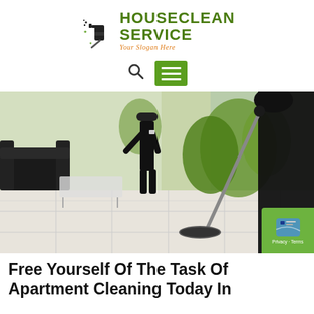[Figure (logo): HouseClean Service logo with cleaning spray bottle icon, green bold text 'HOUSECLEAN SERVICE' and orange italic slogan 'Your Slogan Here']
[Figure (other): Navigation bar with search icon and green hamburger menu button]
[Figure (photo): Photo of two cleaners in black uniforms mopping a tiled floor in a bright office/lobby with green plants and black sofa in background]
Free Yourself Of The Task Of Apartment Cleaning Today In